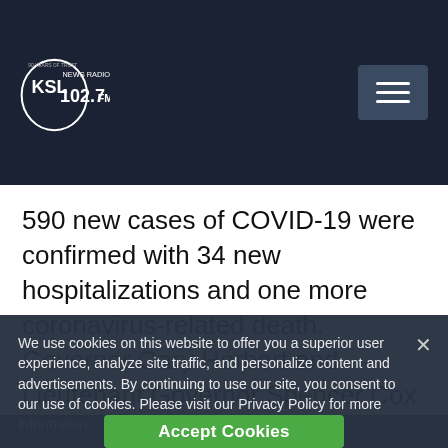KSL NewsRadio 102.7FM — 90 Years of Trust
590 new cases of COVID-19 were confirmed with 34 new hospitalizations and one more coronavirus-related death.  Governor Gary Herbert and Lieutenant Governor Spencer Cox held a press conference, in Spanish, specifically aimed at addressing the spread of the disease among Utah's Latinx
We use cookies on this website to offer you a superior user experience, analyze site traffic, and personalize content and advertisements. By continuing to use our site, you consent to our use of cookies. Please visit our Privacy Policy for more information.
Accept Cookies